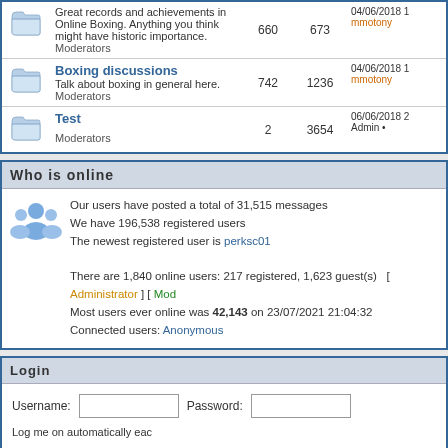| Forum | Topics | Posts | Last Post |
| --- | --- | --- | --- |
| Great records and achievements in Online Boxing. Anything you think might have historic importance. Moderators | 660 | 673 | 04/06/2018 mmotony |
| Boxing discussions
Talk about boxing in general here. Moderators | 742 | 1236 | 04/06/2018 mmotony |
| Test
Moderators | 2 | 3654 | 06/06/2018 Admin |
Who is online
Our users have posted a total of 31,515 messages
We have 196,538 registered users
The newest registered user is perksc01
There are 1,840 online users: 217 registered, 1,623 guest(s) [ Administrator ] [ Mod
Most users ever online was 42,143 on 23/07/2021 21:04:32
Connected users: Anonymous
Login
Username: [input] Password: [input] Log me on automatically each [checkbox] Login
New Messages   No new messages   Blocked Forum
Powered by JForum 2.1.8 © JForum Team